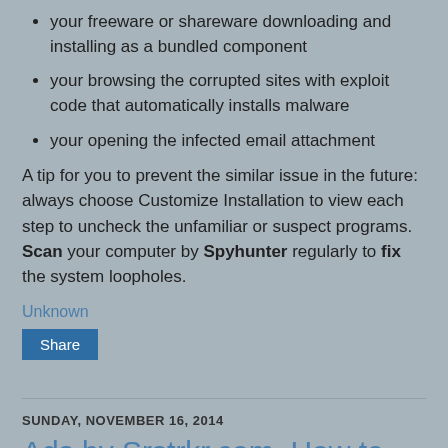your freeware or shareware downloading and installing as a bundled component
your browsing the corrupted sites with exploit code that automatically installs malware
your opening the infected email attachment
A tip for you to prevent the similar issue in the future: always choose Customize Installation to view each step to uncheck the unfamiliar or suspect programs. Scan your computer by Spyhunter regularly to fix the system loopholes.
Unknown
Share
SUNDAY, NOVEMBER 16, 2014
Ads by Srstrkr.com, How to Remove?
He has been attacked by Srstrkr.com just like